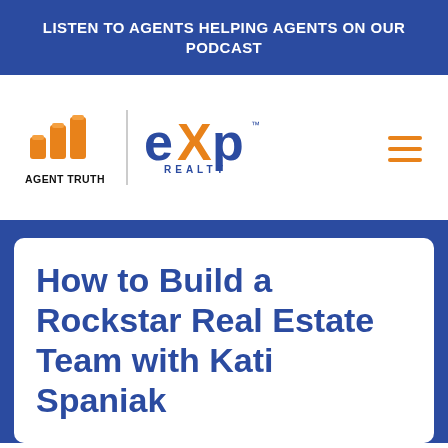LISTEN TO AGENTS HELPING AGENTS ON OUR PODCAST
[Figure (logo): Agent Truth logo with orange bar chart icon and eXp Realty logo side by side, separated by a vertical divider line. Hamburger menu icon in orange on the right.]
How to Build a Rockstar Real Estate Team with Kati Spaniak